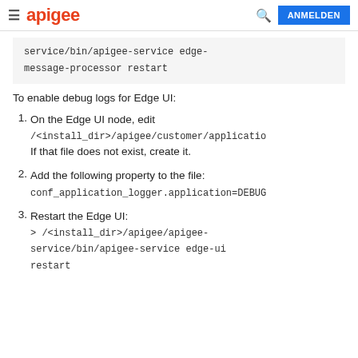apigee   ANMELDEN
service/bin/apigee-service edge-message-processor restart
To enable debug logs for Edge UI:
1. On the Edge UI node, edit /<install_dir>/apigee/customer/application If that file does not exist, create it.
2. Add the following property to the file: conf_application_logger.application=DEBUG
3. Restart the Edge UI: > /<install_dir>/apigee/apigee-service/bin/apigee-service edge-ui restart